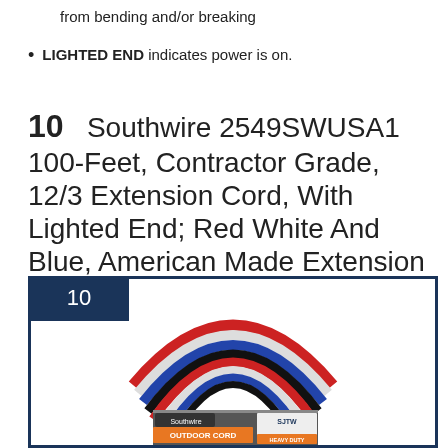from bending and/or breaking
LIGHTED END indicates power is on.
10  Southwire 2549SWUSA1 100-Feet, Contractor Grade, 12/3 Extension Cord, With Lighted End; Red White And Blue, American Made Extension Cord, Indoor and Outdoor Use, Water Resistant Flexible Jacket
[Figure (photo): Product image of Southwire outdoor extension cord coiled, red white and blue colors, shown in retail packaging labeled OUTDOOR CORD SJTW Heavy Duty, Weather Resistant Jacket, Lighted End Shown]